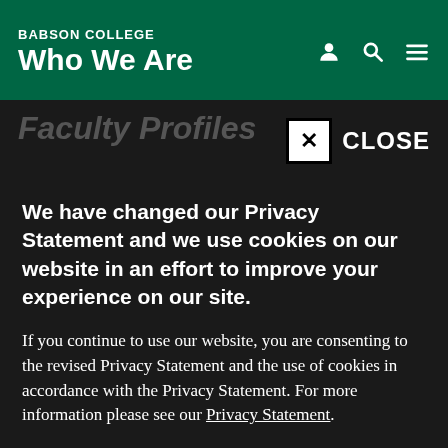BABSON COLLEGE Who We Are
Faculty Profiles
CLOSE
We have changed our Privacy Statement and we use cookies on our website in an effort to improve your experience on our site.
If you continue to use our website, you are consenting to the revised Privacy Statement and the use of cookies in accordance with the Privacy Statement. For more information please see our Privacy Statement.